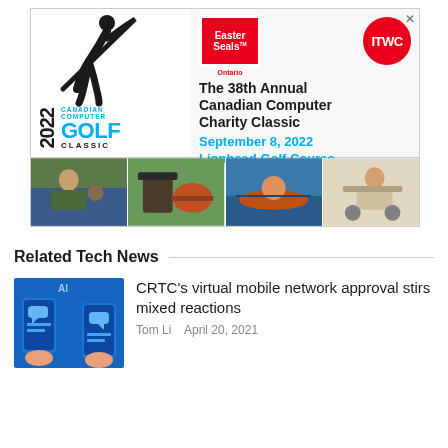[Figure (infographic): Advertisement banner for the 38th Annual Canadian Computer Charity Classic golf tournament. Features Easter Seals Ontario logo, ITWC logo, golfer silhouette, 2022 Canadian Computer Golf Classic branding, event date September 8, 2022 at Lionhead Golf Course, and four photos of children.]
Related Tech News
[Figure (photo): Thumbnail illustration of mobile phones with chat/messaging icons on blue background with hands holding phones.]
CRTC's virtual mobile network approval stirs mixed reactions
Tom Li   April 20, 2021